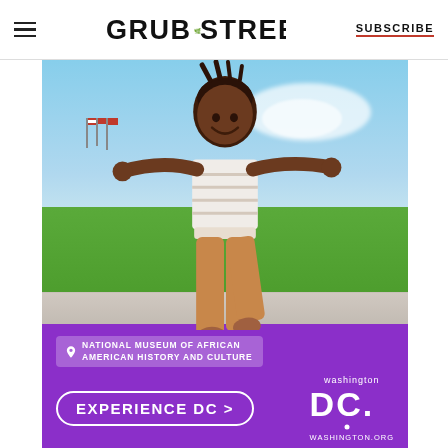GRUB STREET — SUBSCRIBE
[Figure (photo): A young Black child with arms outstretched joyfully jumping or balancing on a low concrete ledge, smiling, wearing a white striped t-shirt and tan pants. Background shows a green lawn with American flags and a blue sky.]
[Figure (infographic): Washington DC tourism advertisement with purple background. Text reads: National Museum of African American History and Culture. EXPERIENCE DC > with Washington DC. logo and washington.org url.]